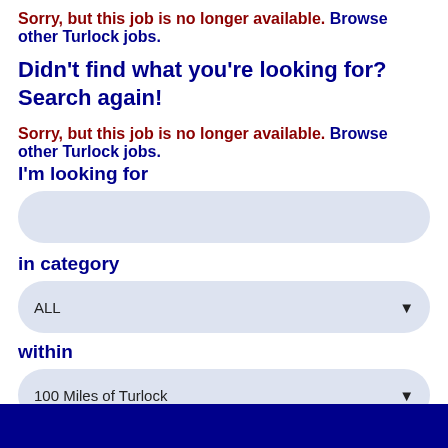Sorry, but this job is no longer available. Browse other Turlock jobs.
Didn't find what you're looking for? Search again!
Sorry, but this job is no longer available. Browse other Turlock jobs.
I'm looking for
[Figure (other): Text input field with light blue rounded rectangle background]
in category
[Figure (other): Dropdown select box showing ALL with light blue rounded rectangle background and dropdown arrow]
within
[Figure (other): Dropdown select box showing 100 Miles of Turlock with light blue rounded rectangle background and dropdown arrow]
[Figure (other): Dark navy blue button at bottom of page]